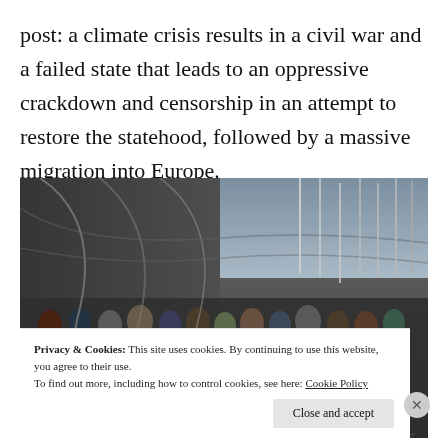post: a climate crisis results in a civil war and a failed state that leads to an oppressive crackdown and censorship in an attempt to restore the statehood, followed by a massive migration into Europe.
[Figure (photo): A crowd of migrants/refugees standing in a queue behind a wire fence at what appears to be a border crossing or port, with flagpoles and grey sky visible in the background.]
Privacy & Cookies: This site uses cookies. By continuing to use this website, you agree to their use. To find out more, including how to control cookies, see here: Cookie Policy